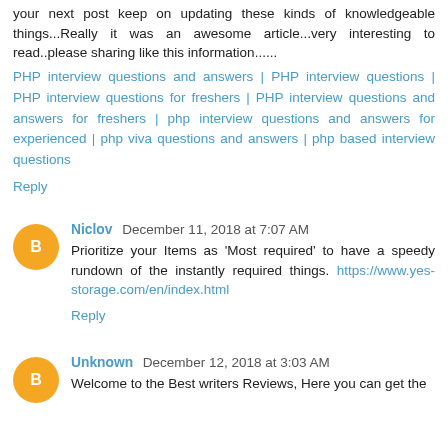your next post keep on updating these kinds of knowledgeable things...Really it was an awesome article...very interesting to read..please sharing like this information......
PHP interview questions and answers | PHP interview questions | PHP interview questions for freshers | PHP interview questions and answers for freshers | php interview questions and answers for experienced | php viva questions and answers | php based interview questions
Reply
Niclov December 11, 2018 at 7:07 AM
Prioritize your Items as 'Most required' to have a speedy rundown of the instantly required things. https://www.yes-storage.com/en/index.html
Reply
Unknown December 12, 2018 at 3:03 AM
Welcome to the Best writers Reviews, Here you can get the